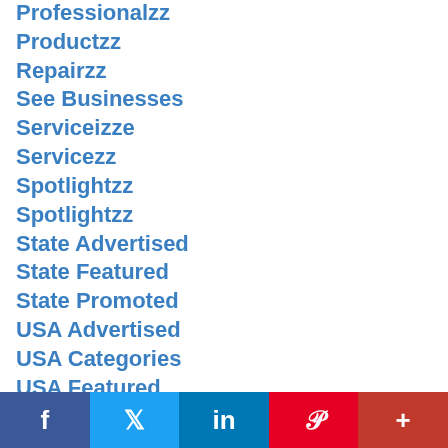Professionalzz
Productzz
Repairzz
See Businesses
Serviceizze
Servicezz
Spotlightzz
Spotlightzz
State Advertised
State Featured
State Promoted
USA Advertised
USA Categories
USA Featured
USA Promoted
USA Storefronts